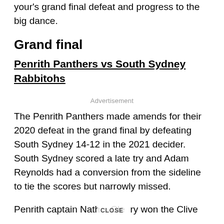your's grand final defeat and progress to the big dance.
Grand final
Penrith Panthers vs South Sydney Rabbitohs
Advertisement
The Penrith Panthers made amends for their 2020 defeat in the grand final by defeating South Sydney 14-12 in the 2021 decider. South Sydney scored a late try and Adam Reynolds had a conversion from the sideline to tie the scores but narrowly missed.
Penrith captain Nathan Cleary won the Clive